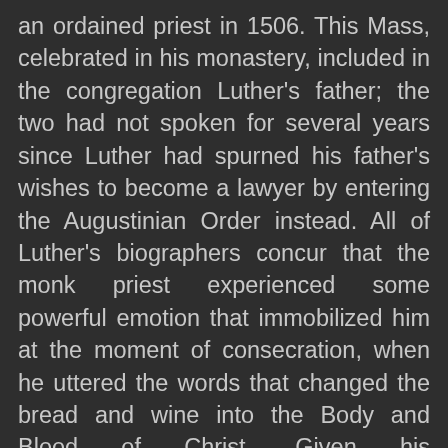an ordained priest in 1506. This Mass, celebrated in his monastery, included in the congregation Luther's father; the two had not spoken for several years since Luther had spurned his father's wishes to become a lawyer by entering the Augustinian Order instead. All of Luther's biographers concur that the monk priest experienced some powerful emotion that immobilized him at the moment of consecration, when he uttered the words that changed the bread and wine into the Body and Blood of Christ. Given his overwhelming sense of his own unworthiness and his six-hour confessions, the realization of holding God in his own hands not surprisingly created a panic or